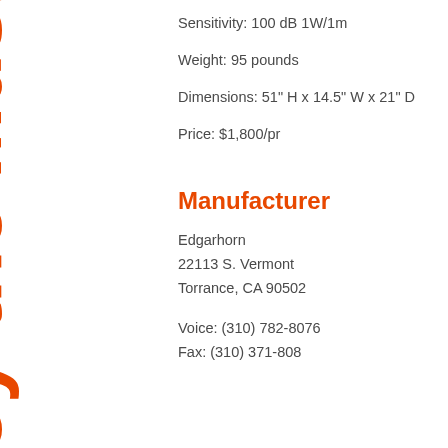[Figure (other): Vertical orange bold text reading 'Enjoy the Music.' rotated 90 degrees along the left side of the page]
Sensitivity: 100 dB 1W/1m
Weight: 95 pounds
Dimensions: 51" H x 14.5" W x 21" D
Price: $1,800/pr
Manufacturer
Edgarhorn
22113 S. Vermont
Torrance, CA 90502
Voice: (310) 782-8076
Fax: (310) 371-808